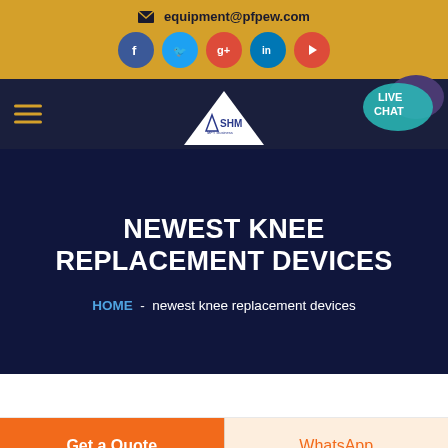equipment@pfpew.com
[Figure (screenshot): Navigation bar with SHM logo, hamburger menu, and live chat bubble]
NEWEST KNEE REPLACEMENT DEVICES
HOME  -  newest knee replacement devices
Get a Quote
WhatsApp